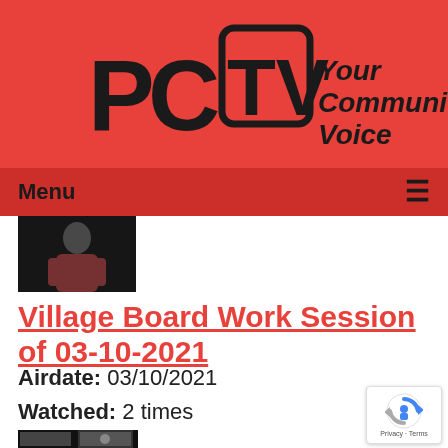[Figure (logo): PCTV logo with text 'Your Community Voice' on red background]
Menu ≡
[Figure (photo): Thumbnail photo of a person in a red jacket, dark background]
Village Board Work Session of 03-10-2021
Airdate: 03/10/2021
Watched: 2 times
[Figure (screenshot): Bottom thumbnail strip showing video preview]
[Figure (other): reCAPTCHA badge with Privacy · Terms text]